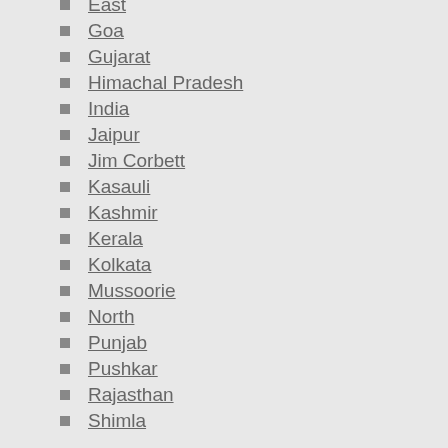East
Goa
Gujarat
Himachal Pradesh
India
Jaipur
Jim Corbett
Kasauli
Kashmir
Kerala
Kolkata
Mussoorie
North
Punjab
Pushkar
Rajasthan
Shimla